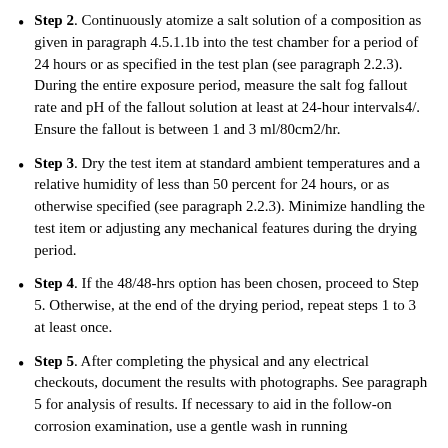Step 2. Continuously atomize a salt solution of a composition as given in paragraph 4.5.1.1b into the test chamber for a period of 24 hours or as specified in the test plan (see paragraph 2.2.3). During the entire exposure period, measure the salt fog fallout rate and pH of the fallout solution at least at 24-hour intervals4/. Ensure the fallout is between 1 and 3 ml/80cm2/hr.
Step 3. Dry the test item at standard ambient temperatures and a relative humidity of less than 50 percent for 24 hours, or as otherwise specified (see paragraph 2.2.3). Minimize handling the test item or adjusting any mechanical features during the drying period.
Step 4. If the 48/48-hrs option has been chosen, proceed to Step 5. Otherwise, at the end of the drying period, repeat steps 1 to 3 at least once.
Step 5. After completing the physical and any electrical checkouts, document the results with photographs. See paragraph 5 for analysis of results. If necessary to aid in the follow-on corrosion examination, use a gentle wash in running